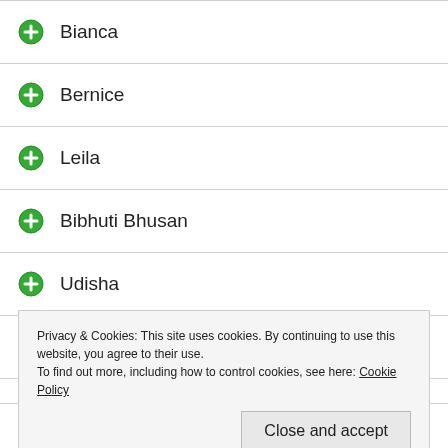Bianca
Bernice
Leila
Bibhuti Bhusan
Udisha
Maryam
Danielle
Charles
Rachel
Privacy & Cookies: This site uses cookies. By continuing to use this website, you agree to their use.
To find out more, including how to control cookies, see here: Cookie Policy
Rahat